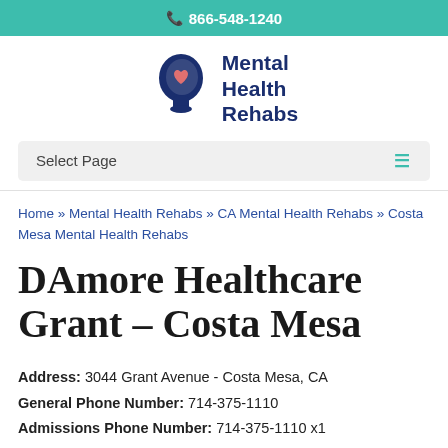866-548-1240
[Figure (logo): Mental Health Rehabs logo: dark blue silhouette of a head with a heart inside, next to bold text 'Mental Health Rehabs']
Select Page
Home » Mental Health Rehabs » CA Mental Health Rehabs » Costa Mesa Mental Health Rehabs
DAmore Healthcare Grant – Costa Mesa
Address: 3044 Grant Avenue - Costa Mesa, CA
General Phone Number: 714-375-1110
Admissions Phone Number: 714-375-1110 x1